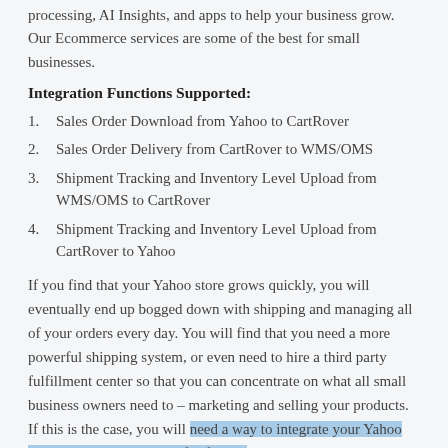processing, AI Insights, and apps to help your business grow. Our Ecommerce services are some of the best for small businesses.
Integration Functions Supported:
1. Sales Order Download from Yahoo to CartRover
2. Sales Order Delivery from CartRover to WMS/OMS
3. Shipment Tracking and Inventory Level Upload from WMS/OMS to CartRover
4. Shipment Tracking and Inventory Level Upload from CartRover to Yahoo
If you find that your Yahoo store grows quickly, you will eventually end up bogged down with shipping and managing all of your orders every day. You will find that you need a more powerful shipping system, or even need to hire a third party fulfillment center so that you can concentrate on what all small business owners need to – marketing and selling your products. If this is the case, you will need a way to integrate your Yahoo store with another piece of software. You will also need to sync your inventory and order tracking